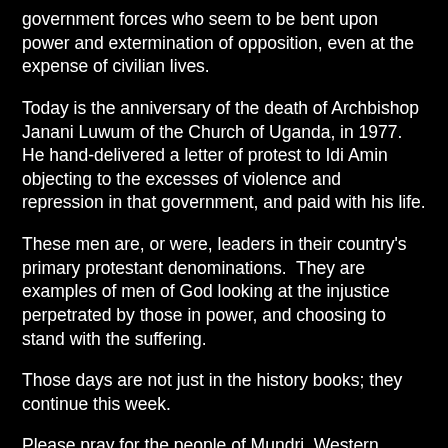government forces who seem to be bent upon power and extermination of opposition, even at the expense of civilian lives.
Today is the anniversary of the death of Archbishop Janani Luwum of the Church of Uganda, in 1977.  He hand-delivered a letter of protest to Idi Amin objecting to the excesses of violence and repression in that government, and paid with his life.
These men are, or were, leaders in their country's primary protestant denominations.  They are examples of men of God looking at the injustice perpetrated by those in power, and choosing to stand with the suffering.
Those days are not just in the history books; they continue this week.
Please pray for the people of Mundri, Western Equitoria, South Sudan.  They are hungry.  Their homes have been burnt.  They are without access to medical care.  Join Bishop Bismarck in advocating for them.  Pray for Bismarck's safety